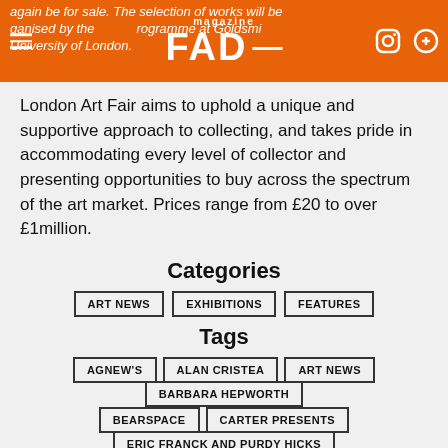FAD magazine - again be for sale. The selection of works will be organised by the MFA Programme at Goldsmiths, University of London.
London Art Fair aims to uphold a unique and supportive approach to collecting, and takes pride in accommodating every level of collector and presenting opportunities to buy across the spectrum of the art market. Prices range from £20 to over £1million.
Categories
ART NEWS
EXHIBITIONS
FEATURES
Tags
AGNEW'S
ALAN CRISTEA
ART NEWS
BARBARA HEPWORTH
BEARSPACE
CARTER PRESENTS
ERIC FRANCK AND PURDY HICKS
FAS CONTEMPORARY
GAVIN TURK
HAZLITT HOLLAND HIBBERT